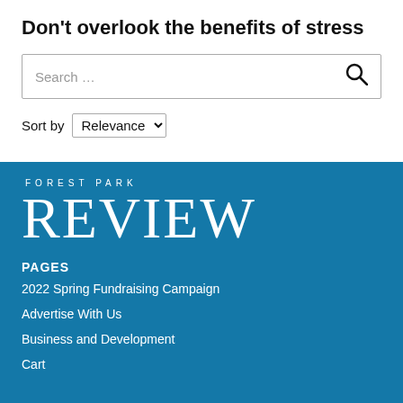Don’t overlook the benefits of stress
Search …
Sort by Relevance
[Figure (logo): Forest Park Review logo: 'FOREST PARK' in small spaced caps above large serif 'REVIEW' text, white on teal background]
PAGES
2022 Spring Fundraising Campaign
Advertise With Us
Business and Development
Cart